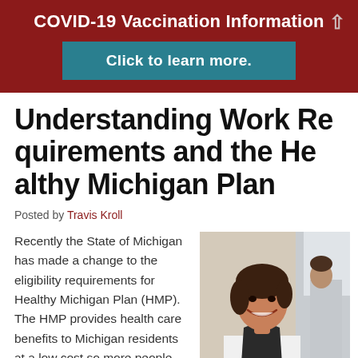COVID-19 Vaccination Information
Click to learn more.
Understanding Work Requirements and the Healthy Michigan Plan
Posted by Travis Kroll
Recently the State of Michigan has made a change to the eligibility requirements for Healthy Michigan Plan (HMP). The HMP provides health care benefits to Michigan residents at a low cost so more people can
[Figure (photo): Smiling woman in service uniform, with a man in background]